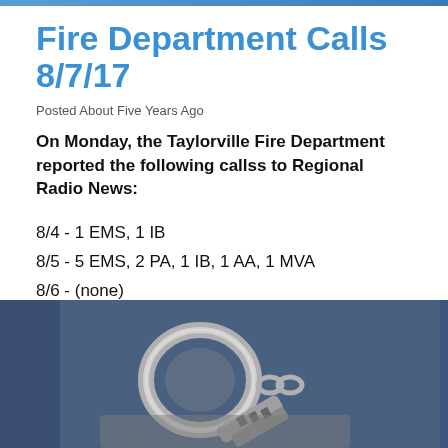Fire Department Calls 8/7/17
Posted About Five Years Ago
On Monday, the Taylorville Fire Department reported the following callss to Regional Radio News:
8/4 - 1 EMS, 1 IB
8/5 - 5 EMS, 2 PA, 1 IB, 1 AA, 1 MVA
8/6 - (none)
[Figure (photo): Close-up photo of metal handcuffs on a dark blue fabric background]